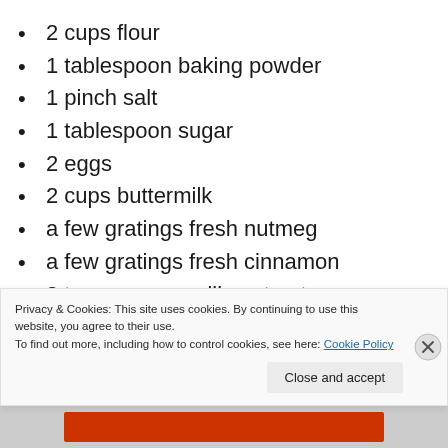2 cups flour
1 tablespoon baking powder
1 pinch salt
1 tablespoon sugar
2 eggs
2 cups buttermilk
a few gratings fresh nutmeg
a few gratings fresh cinnamon
2 teaspoons vanilla extract
Privacy & Cookies: This site uses cookies. By continuing to use this website, you agree to their use.
To find out more, including how to control cookies, see here: Cookie Policy